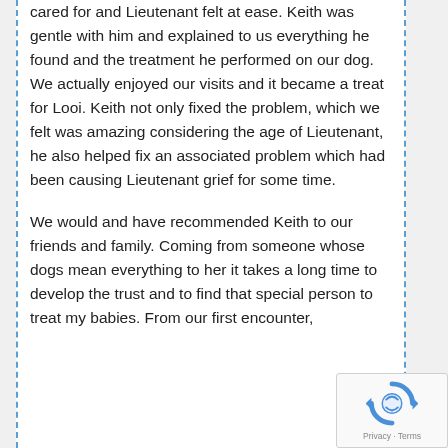cared for and Lieutenant felt at ease. Keith was gentle with him and explained to us everything he found and the treatment he performed on our dog. We actually enjoyed our visits and it became a treat for Looi.  Keith not only fixed the problem, which we felt was amazing considering the age of Lieutenant, he also helped fix an associated problem which had been causing Lieutenant grief for some time.

We would and have recommended Keith to our friends and family. Coming from someone whose dogs mean everything to her it takes a long time to develop the trust and to find that special person to treat my babies. From our first encounter, Keith was a pleasure to...
[Figure (logo): reCAPTCHA badge with spinning arrows logo and Privacy - Terms text]